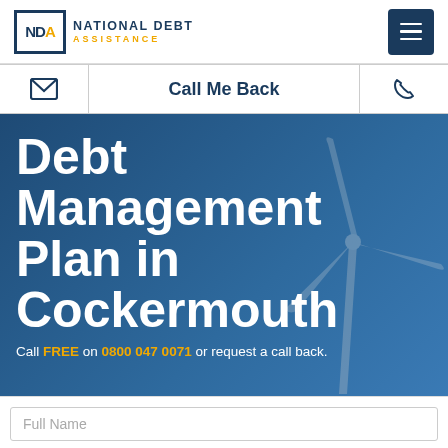National Debt Assistance
Call Me Back
Debt Management Plan in Cockermouth
Call FREE on 0800 047 0071 or request a call back.
Full Name